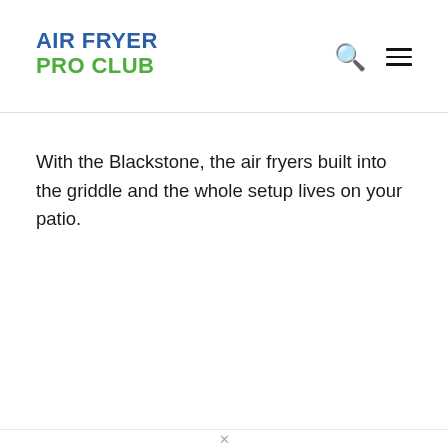AIR FRYER PRO CLUB
With the Blackstone, the air fryers built into the griddle and the whole setup lives on your patio.